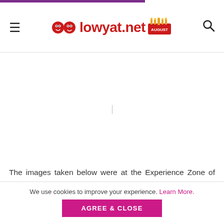lowyat.net
[Figure (other): Advertisement or article image placeholder area, white/blank]
The images taken below were at the Experience Zone of the Samsung Unpacked event from late last night, and the lighting conditions in the indoor arena were not that great. They're not exactly low-light conditions, but these are
We use cookies to improve your experience. Learn More.
AGREE & CLOSE